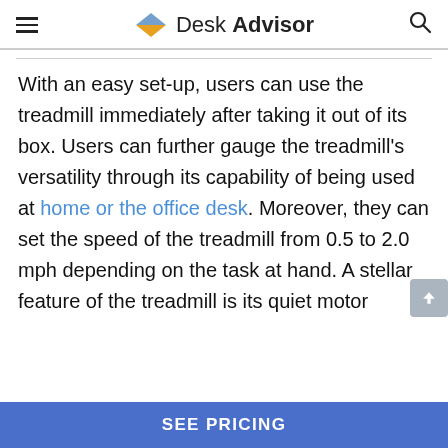Desk Advisor
With an easy set-up, users can use the treadmill immediately after taking it out of its box. Users can further gauge the treadmill's versatility through its capability of being used at home or the office desk. Moreover, they can set the speed of the treadmill from 0.5 to 2.0 mph depending on the task at hand. A stellar feature of the treadmill is its quiet motor
SEE PRICING